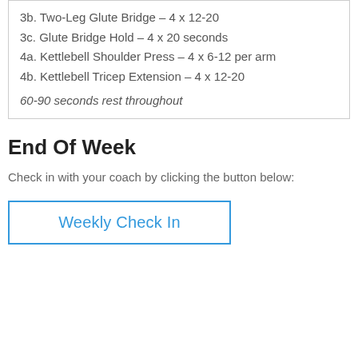3b. Two-Leg Glute Bridge – 4 x 12-20
3c. Glute Bridge Hold – 4 x 20 seconds
4a. Kettlebell Shoulder Press – 4 x 6-12 per arm
4b. Kettlebell Tricep Extension – 4 x 12-20
60-90 seconds rest throughout
End Of Week
Check in with your coach by clicking the button below:
Weekly Check In